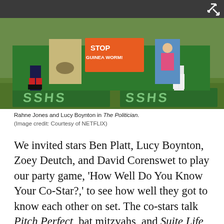[Figure (photo): Photo from The Politician TV show on Netflix. Shows two people standing on green platforms labeled 'SSHS'. A 'STOP GUINEA WORM!' orange sign is visible in the background along with colorful posters on a green wall. Outdoor grassy setting.]
Rahne Jones and Lucy Boynton in The Politician. (Image credit: Courtesy of NETFLIX)
We invited stars Ben Platt, Lucy Boynton, Zoey Deutch, and David Corenswet to play our party game, 'How Well Do You Know Your Co-Star?,' to see how well they got to know each other on set. The co-stars talk Pitch Perfect, bat mitzvahs, and Suite Life on Deck. You won't believe which Beatles member is the "love of" Boynton's life, the